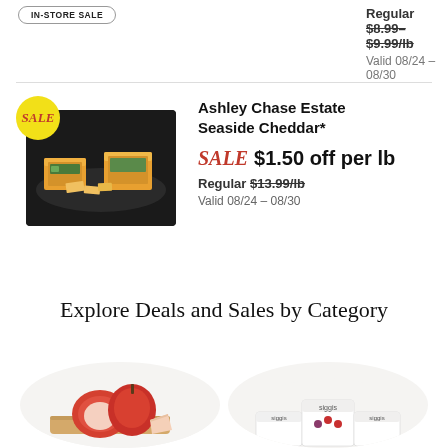IN-STORE SALE
Regular $8.99–$9.99/lb
Valid 08/24 – 08/30
[Figure (photo): Ashley Chase Estate Seaside Cheddar cheese packages on a dark slate board with sliced cheese pieces]
Ashley Chase Estate Seaside Cheddar*
SALE $1.50 off per lb
Regular $13.99/lb
Valid 08/24 – 08/30
Explore Deals and Sales by Category
[Figure (photo): Red apples and sliced apple on a wooden cutting board]
[Figure (photo): Siggi's yogurt containers]